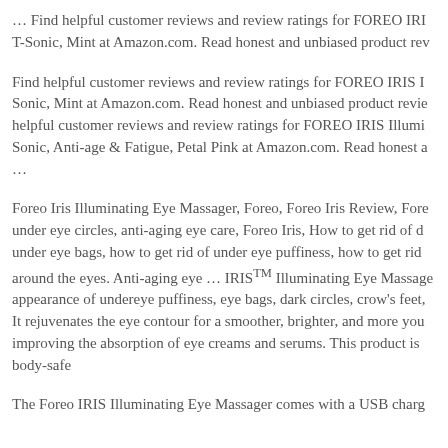… Find helpful customer reviews and review ratings for FOREO IRI T-Sonic, Mint at Amazon.com. Read honest and unbiased product rev
Find helpful customer reviews and review ratings for FOREO IRIS I Sonic, Mint at Amazon.com. Read honest and unbiased product revie helpful customer reviews and review ratings for FOREO IRIS Illumi Sonic, Anti-age & Fatigue, Petal Pink at Amazon.com. Read honest a …
Foreo Iris Illuminating Eye Massager, Foreo, Foreo Iris Review, Fore under eye circles, anti-aging eye care, Foreo Iris, How to get rid of d under eye bags, how to get rid of under eye puffiness, how to get rid around the eyes. Anti-aging eye … IRIS™ Illuminating Eye Massage appearance of undereye puffiness, eye bags, dark circles, crow's feet, It rejuvenates the eye contour for a smoother, brighter, and more you improving the absorption of eye creams and serums. This product is body-safe
The Foreo IRIS Illuminating Eye Massager comes with a USB charg